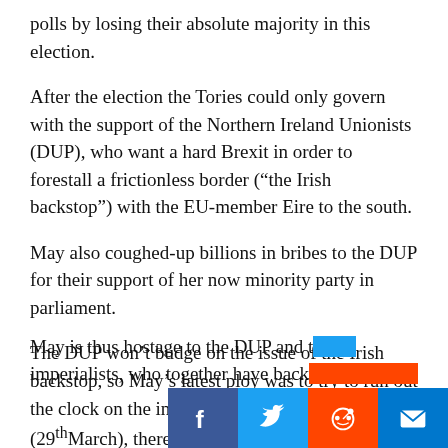polls by losing their absolute majority in this election.
After the election the Tories could only govern with the support of the Northern Ireland Unionists (DUP), who want a hard Brexit in order to forestall a frictionless border (“the Irish backstop”) with the EU-member Eire to the south.
May also coughed-up billions in bribes to the DUP for their support of her now minority party in parliament.
The DUP won’t budge on the issue of the Irish backstop, so May’s latest ploy was to try to run out the clock on the initial Brexit deadline (29th March), thereby making a hard or no-deal Brexit inevitable just so she can retain the support of the DUP and the Brexiter retro-imperialists in her party in order to remain PM.
May is thus hostage to the DUP and the retro-imperialists, who together have backed her into the